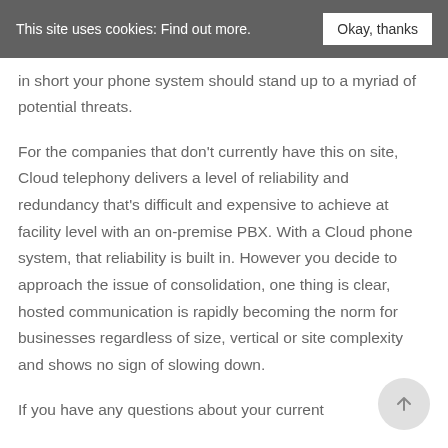This site uses cookies: Find out more. Okay, thanks
in short your phone system should stand up to a myriad of potential threats.
For the companies that don't currently have this on site, Cloud telephony delivers a level of reliability and redundancy that's difficult and expensive to achieve at facility level with an on-premise PBX. With a Cloud phone system, that reliability is built in. However you decide to approach the issue of consolidation, one thing is clear, hosted communication is rapidly becoming the norm for businesses regardless of size, vertical or site complexity and shows no sign of slowing down.
If you have any questions about your current